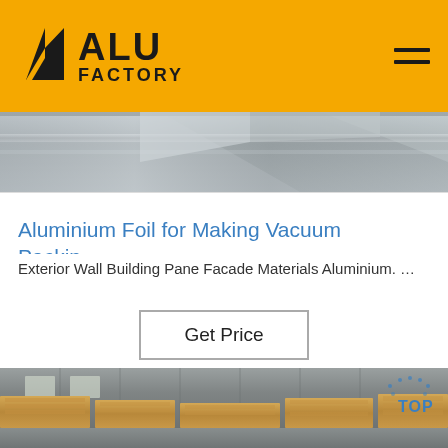ALU FACTORY
[Figure (photo): Close-up of aluminium sheet metal fold/corner detail, metallic grey surface]
Aluminium Foil for Making Vacuum Packin…
Exterior Wall Building Pane Facade Materials Aluminium. …
Get Price
[Figure (photo): Interior of a large industrial warehouse with stacked pallets of aluminium sheets, corrugated metal walls and high ceiling with skylights. TOP badge visible in lower right.]